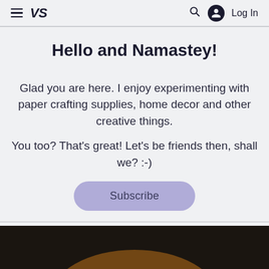≡ VS   🔍  Log In
Hello and Namastey!
Glad you are here. I enjoy experimenting with paper crafting supplies, home decor and other creative things.
You too? That's great! Let's be friends then, shall we? :-)
Subscribe
[Figure (photo): Partial view of a circular object (possibly a craft or decorative item) with dark and golden tones at the bottom of the page]